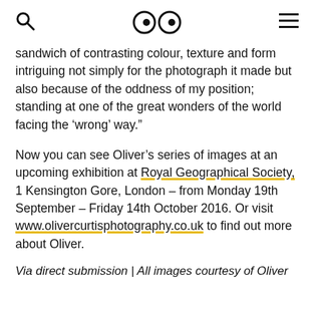🔍 👀 ≡
sandwich of contrasting colour, texture and form intriguing not simply for the photograph it made but also because of the oddness of my position; standing at one of the great wonders of the world facing the 'wrong' way."
Now you can see Oliver's series of images at an upcoming exhibition at Royal Geographical Society, 1 Kensington Gore, London – from Monday 19th September – Friday 14th October 2016. Or visit www.olivercurtisphotography.co.uk to find out more about Oliver.
Via direct submission | All images courtesy of Oliver